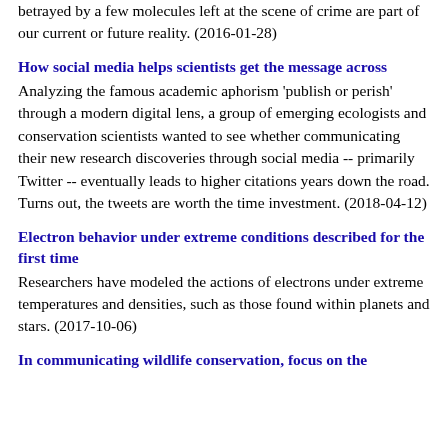betrayed by a few molecules left at the scene of crime are part of our current or future reality. (2016-01-28)
How social media helps scientists get the message across
Analyzing the famous academic aphorism 'publish or perish' through a modern digital lens, a group of emerging ecologists and conservation scientists wanted to see whether communicating their new research discoveries through social media -- primarily Twitter -- eventually leads to higher citations years down the road. Turns out, the tweets are worth the time investment. (2018-04-12)
Electron behavior under extreme conditions described for the first time
Researchers have modeled the actions of electrons under extreme temperatures and densities, such as those found within planets and stars. (2017-10-06)
In communicating wildlife conservation, focus on the